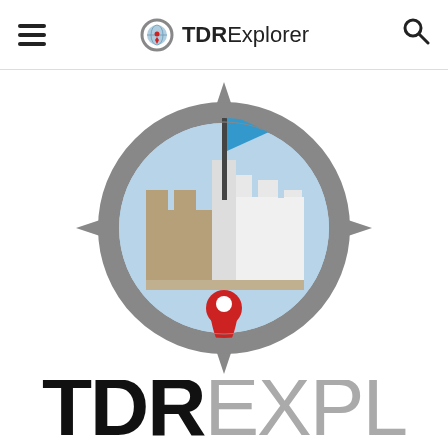TDRExplorer
[Figure (logo): TDRExplorer logo: a compass/gear shaped badge with a castle illustration inside a light blue circle. The castle has tan/beige left towers and white right towers with a dark flagpole topped by a blue pennant flag. A red location pin marker sits at the base center of the castle. The outer ring is dark gray gear/compass shape with pointed cardinal directions.]
TDRExplorer